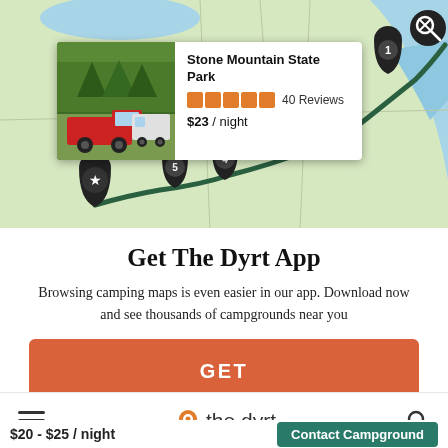[Figure (map): Road trip map showing route through eastern US states with numbered pins (1-5), a star pin, and a location popup for Stone Mountain State Park]
Get The Dyrt App
Browsing camping maps is even easier in our app. Download now and see thousands of campgrounds near you
GET
the dyrt
$20 - $25 / night
Contact Campground